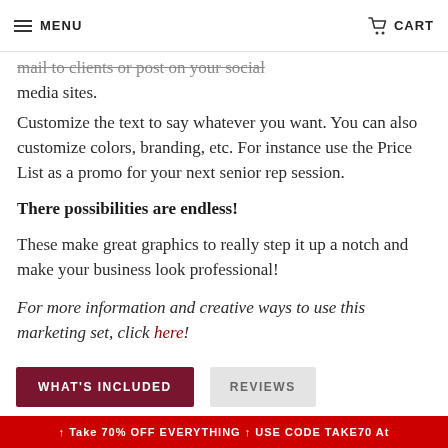MENU  CART
mail to clients or post on your social media sites.
Customize the text to say whatever you want. You can also customize colors, branding, etc. For instance use the Price List as a promo for your next senior rep session.
There possibilities are endless!
These make great graphics to really step it up a notch and make your business look professional!
For more information and creative ways to use this marketing set, click here!
WHAT'S INCLUDED   REVIEWS
Take 70% OFF EVERYTHING + USE CODE TAKE70 At